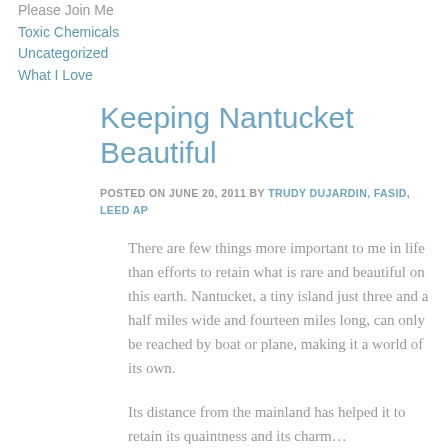Toxic Chemicals
Uncategorized
What I Love
Keeping Nantucket Beautiful
POSTED ON JUNE 20, 2011 BY TRUDY DUJARDIN, FASID, LEED AP
There are few things more important to me in life than efforts to retain what is rare and beautiful on this earth. Nantucket, a tiny island just three and a half miles wide and fourteen miles long, can only be reached by boat or plane, making it a world of its own.
Its distance from the mainland has helped it to retain its quaintness and its charm…